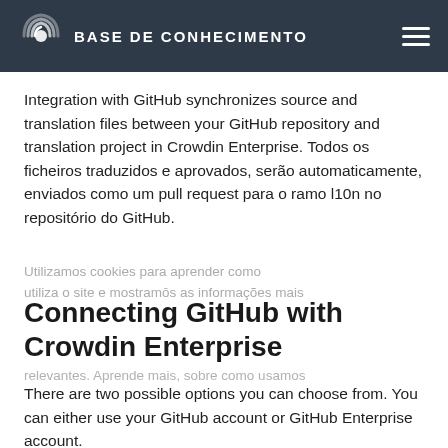BASE DE CONHECIMENTO
Integration with GitHub synchronizes source and translation files between your GitHub repository and translation project in Crowdin Enterprise. Todos os ficheiros traduzidos e aprovados, serão automaticamente, enviados como um pull request para o ramo l10n no repositório do GitHub.
Connecting GitHub with Crowdin Enterprise
There are two possible options you can choose from. You can either use your GitHub account or GitHub Enterprise account.